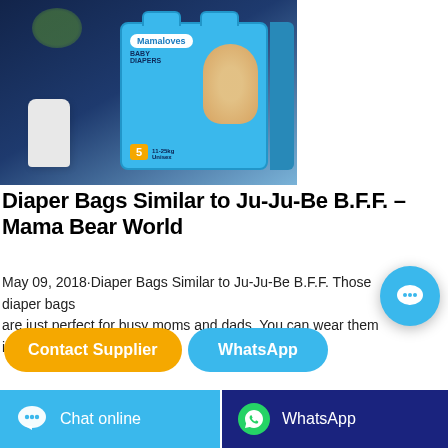[Figure (photo): Product photo of Mamaloves Baby Diapers box (size 5) against a dark blue background with a white vase]
Diaper Bags Similar to Ju-Ju-Be B.F.F. – Mama Bear World
May 09, 2018·Diaper Bags Similar to Ju-Ju-Be B.F.F. Those diaper bags are just perfect for busy moms and dads. You can wear them in 4 di
Contact Supplier
WhatsApp
Chat online
WhatsApp